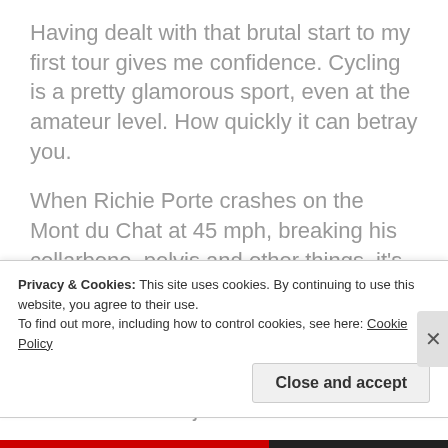Having dealt with that brutal start to my first tour gives me confidence. Cycling is a pretty glamorous sport, even at the amateur level. How quickly it can betray you.
When Richie Porte crashes on the Mont du Chat at 45 mph, breaking his collarbone, pelvis and other things, it’s not just that his Tour de France is over. He has to live with those ailments for the next however-many months. I’ve gained a new perspective through this, that races aren’t just about the results.
Privacy & Cookies: This site uses cookies. By continuing to use this website, you agree to their use.
To find out more, including how to control cookies, see here: Cookie Policy